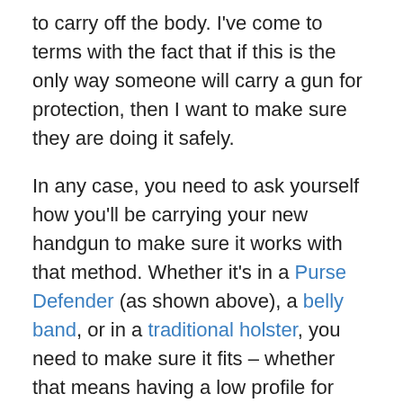to carry off the body. I've come to terms with the fact that if this is the only way someone will carry a gun for protection, then I want to make sure they are doing it safely.
In any case, you need to ask yourself how you'll be carrying your new handgun to make sure it works with that method. Whether it's in a Purse Defender (as shown above), a belly band, or in a traditional holster, you need to make sure it fits – whether that means having a low profile for appendix carry or ensuring your carry method protects the trigger if you choose a gun without an external safety.
[Figure (photo): Photo showing multiple handguns laid out on a table/display, with a person's hand reaching toward them and a dark bag visible in the upper right.]